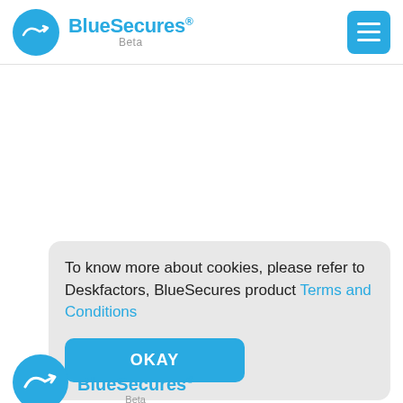BlueSecures® Beta — navigation header with hamburger menu
To know more about cookies, please refer to Deskfactors, BlueSecures product Terms and Conditions
OKAY
[Figure (logo): BlueSecures Beta logo partially visible at bottom of page]